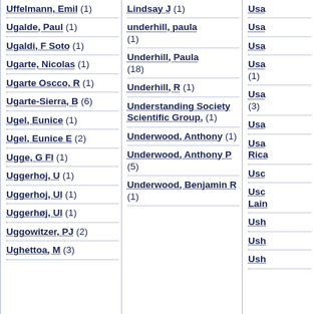Uffelmann, Emil (1)
Ugalde, Paul (1)
Ugaldi, F Soto (1)
Ugarte, Nicolas (1)
Ugarte Oscco, R (1)
Ugarte-Sierra, B (6)
Ugel, Eunice (1)
Ugel, Eunice E (2)
Ugge, G Fl (1)
Uggerhoj, U (1)
Uggerhoj, Ul (1)
Uggerhøj, Ul (1)
Uggowitzer, PJ (2)
Ughettoa, M (3)
Lindsay J (1)
underhill, paula (1)
Underhill, Paula (18)
Underhill, R (1)
Understanding Society Scientific Group, (1)
Underwood, Anthony (1)
Underwood, Anthony P (5)
Underwood, Benjamin R (1)